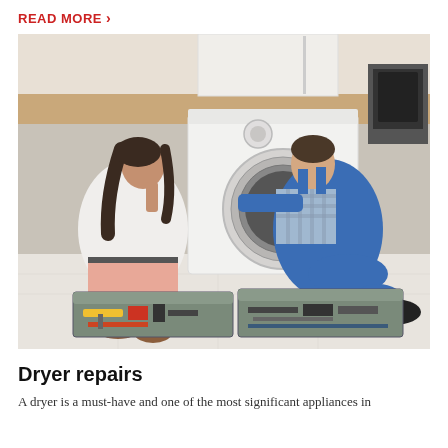READ MORE >
[Figure (photo): A woman and a male technician in blue overalls crouching in front of an open washing machine drum in a kitchen. The technician is inspecting inside the drum. Two open toolboxes with tools are on the floor in the foreground.]
Dryer repairs
A dryer is a must-have and one of the most significant appliances in